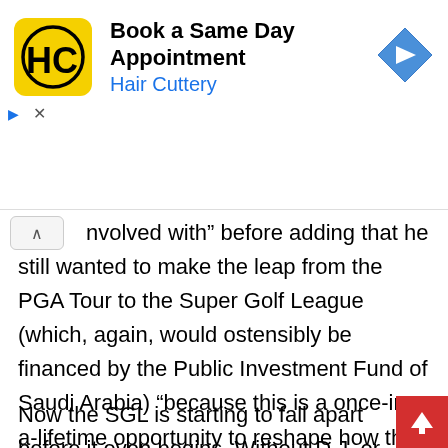[Figure (screenshot): Hair Cuttery advertisement banner: yellow logo with HC, text 'Book a Same Day Appointment' and 'Hair Cuttery' in blue, navigation diamond icon on right]
…volved with” before adding that he still wanted to make the leap from the PGA Tour to the Super Golf League (which, again, would ostensibly be financed by the Public Investment Fund of Saudi Arabia) “because this is a once-in-a-lifetime opportunity to reshape how the PGA Tour operates. … I’m not sure I even want [SGL] to succeed, but just the idea of it is allowing us to get things done with the [PGA] Tour.”
Now the SGL is starting to fall apart before it even begins. Without D.J. or any of the other megasta… the [PGA] Tour, the SGL is left with Mich…